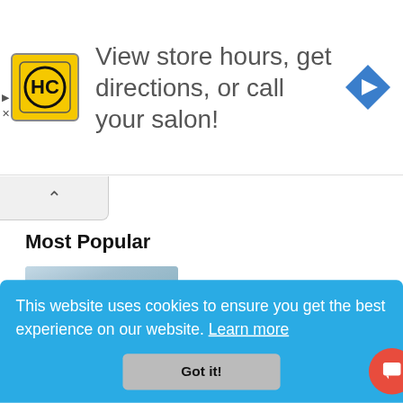[Figure (screenshot): Advertisement banner with HC logo in yellow square and navigation arrow icon, text: View store hours, get directions, or call your salon!]
Most Popular
[Figure (photo): Blurry aerial photo of a city/real estate development in Silang, Cavite]
Silang, Cavite: The next real estate hotspot in Metro...
This website uses cookies to ensure you get the best experience on our website. Learn more
Got it!